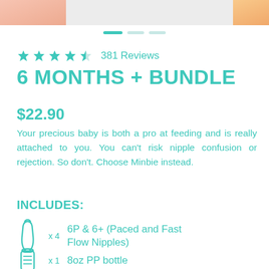[Figure (photo): Top image bar with baby product photos on left and right sides]
★★★★½ 381 Reviews
6 MONTHS + BUNDLE
$22.90
Your precious baby is both a pro at feeding and is really attached to you. You can't risk nipple confusion or rejection. So don't. Choose Minbie instead.
INCLUDES:
x 4  6P & 6+ (Paced and Fast Flow Nipples)
x 1  8oz PP bottle